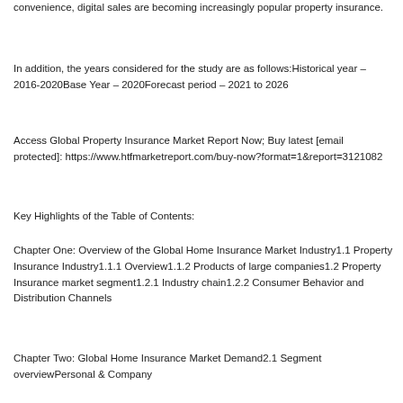convenience, digital sales are becoming increasingly popular property insurance.
In addition, the years considered for the study are as follows:Historical year – 2016-2020Base Year – 2020Forecast period – 2021 to 2026
Access Global Property Insurance Market Report Now; Buy latest [email protected]: https://www.htfmarketreport.com/buy-now?format=1&report=3121082
Key Highlights of the Table of Contents:
Chapter One: Overview of the Global Home Insurance Market Industry1.1 Property Insurance Industry1.1.1 Overview1.1.2 Products of large companies1.2 Property Insurance market segment1.2.1 Industry chain1.2.2 Consumer Behavior and Distribution Channels
Chapter Two: Global Home Insurance Market Demand2.1 Segment overviewPersonal & Company